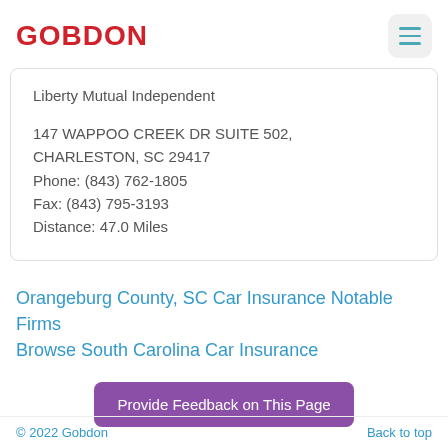GOBDON
Liberty Mutual Independent

147 WAPPOO CREEK DR SUITE 502, CHARLESTON, SC 29417
Phone: (843) 762-1805
Fax: (843) 795-3193
Distance: 47.0 Miles
Orangeburg County, SC Car Insurance Notable Firms
Browse South Carolina Car Insurance
Provide Feedback on This Page
© 2022 Gobdon    Back to top